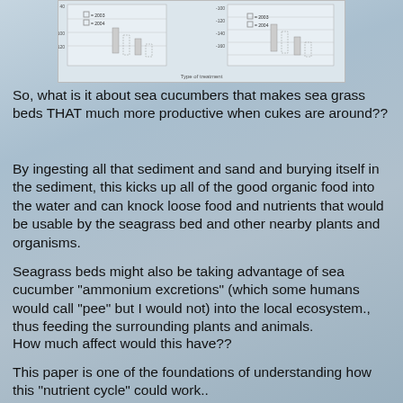[Figure (other): Partial chart showing bar/box plots with legend entries for 2003 and 2004, x-axis label 'Type of treatment']
So, what is it about sea cucumbers that makes sea grass beds THAT much more productive when cukes are around??
By ingesting all that sediment and sand and burying itself in the sediment, this kicks up all of the good organic food into the water and can knock loose food and nutrients that would be usable by the seagrass bed and other nearby plants and organisms.
Seagrass beds might also be taking advantage of sea cucumber "ammonium excretions" (which some humans would call "pee" but I would not) into the local ecosystem., thus feeding the surrounding plants and animals.
How much affect would this have??
This paper is one of the foundations of understanding how this "nutrient cycle" could work..